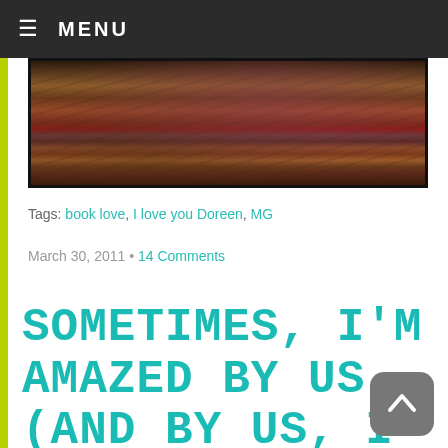≡ MENU
[Figure (photo): A top-down photograph of colorful coral reef or tide pool with red, brown, and dark textures]
Tags: book love, I love you Doreen, MG
March 30, 2011 • 14 Comments
SOMETIMES, I'M AMAZED BY US. (AND BY US, I DON'T MEAN ME.)